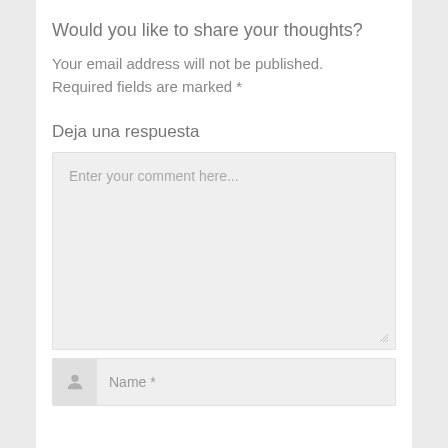Would you like to share your thoughts?
Your email address will not be published. Required fields are marked *
Deja una respuesta
Enter your comment here...
Name *